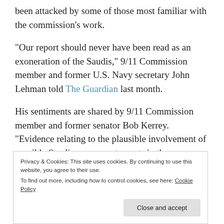been attacked by some of those most familiar with the commission's work.
“Our report should never have been read as an exoneration of the Saudis,” 9/11 Commission member and former U.S. Navy secretary John Lehman told The Guardian last month.
His sentiments are shared by 9/11 Commission member and former senator Bob Kerrey. “Evidence relating to the plausible involvement of possible Saudi government agents in the
Privacy & Cookies: This site uses cookies. By continuing to use this website, you agree to their use.
To find out more, including how to control cookies, see here: Cookie Policy